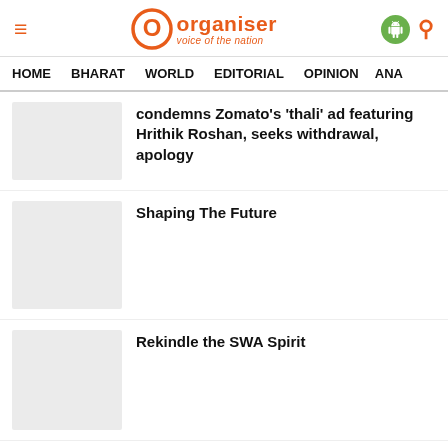Organiser — voice of the nation
HOME   BHARAT   WORLD   EDITORIAL   OPINION   ANA
condemns Zomato's 'thali' ad featuring Hrithik Roshan, seeks withdrawal, apology
Shaping The Future
Rekindle the SWA Spirit
'He's a 'criminal', hatched conspiracy to attack me': Kerala Governor Arif Mohammed Khan blasts Kannur University VC
Deli tho...  CPI...  S...